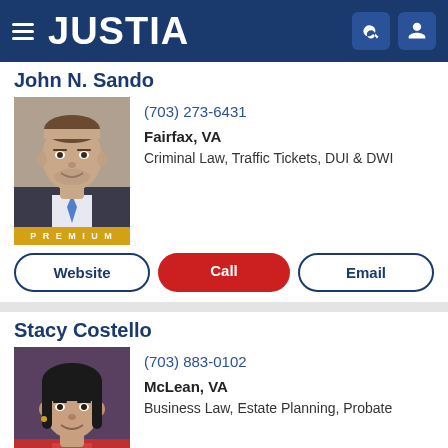JUSTIA
John N. Sando
(703) 273-6431
Fairfax, VA
Criminal Law, Traffic Tickets, DUI & DWI
PREMIUM
Website
Call
Email
Stacy Costello
(703) 883-0102
McLean, VA
Business Law, Estate Planning, Probate
PREMIUM
Website
Call
Email